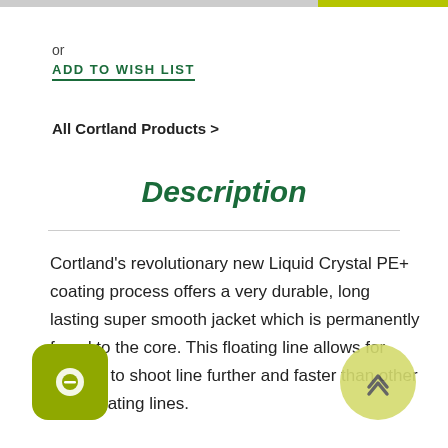or
ADD TO WISH LIST
All Cortland Products >
Description
Cortland's revolutionary new Liquid Crystal PE+ coating process offers a very durable, long lasting super smooth jacket which is permanently fused to the core. This floating line allows for anglers to shoot line further and faster than other PVC floating lines.